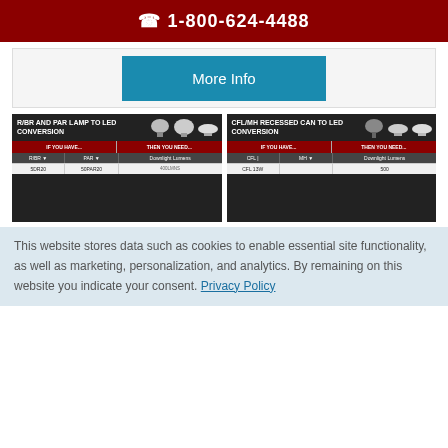1-800-624-4488
[Figure (other): More Info button (teal/blue background)]
[Figure (table-as-image): R/BR AND PAR LAMP TO LED CONVERSION chart showing lamp types, IF YOU HAVE and THEN YOU NEED columns with Downlight Lumens. Row: 5DR20, 50PAR20]
[Figure (table-as-image): CFL/MH RECESSED CAN TO LED CONVERSION chart showing CFL and MH lamp types, IF YOU HAVE and THEN YOU NEED columns with Downlight Lumens. Row: CFL 13W, MH, 500]
This website stores data such as cookies to enable essential site functionality, as well as marketing, personalization, and analytics. By remaining on this website you indicate your consent. Privacy Policy